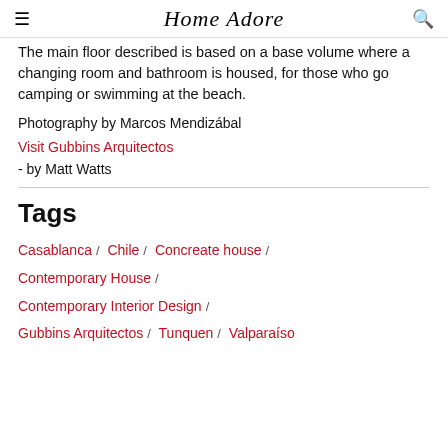Home Adore
The main floor described is based on a base volume where a changing room and bathroom is housed, for those who go camping or swimming at the beach.
Photography by Marcos Mendizábal
Visit Gubbins Arquitectos
- by Matt Watts
Tags
Casablanca / Chile / Concreate house / Contemporary House / Contemporary Interior Design / Gubbins Arquitectos / Tunquen / Valparaíso